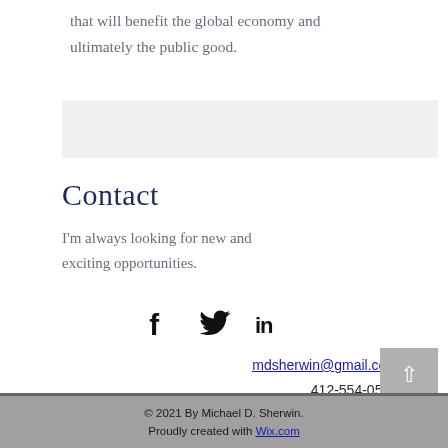that will benefit the global economy and ultimately the public good.
[Figure (other): Light gray horizontal banner/bar]
Contact
I'm always looking for new and exciting opportunities.
[Figure (infographic): Social media icons: Facebook, Twitter, LinkedIn]
mdsherwin@gmail.com
412-554-0571
© 2021 By Michael D. Sherwin. Proudly created with Wix.com